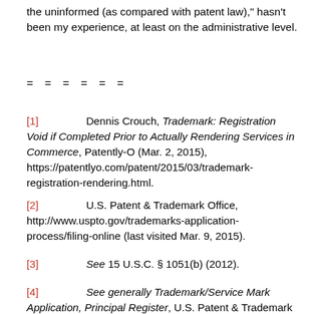the uninformed (as compared with patent law)," hasn't been my experience, at least on the administrative level.
= = = = = =
[1]   Dennis Crouch, Trademark: Registration Void if Completed Prior to Actually Rendering Services in Commerce, Patently-O (Mar. 2, 2015), https://patentlyo.com/patent/2015/03/trademark-registration-rendering.html.
[2]   U.S. Patent & Trademark Office, http://www.uspto.gov/trademarks-application-process/filing-online (last visited Mar. 9, 2015).
[3]   See 15 U.S.C. § 1051(b) (2012).
[4]   See generally Trademark/Service Mark Application, Principal Register, U.S. Patent & Trademark